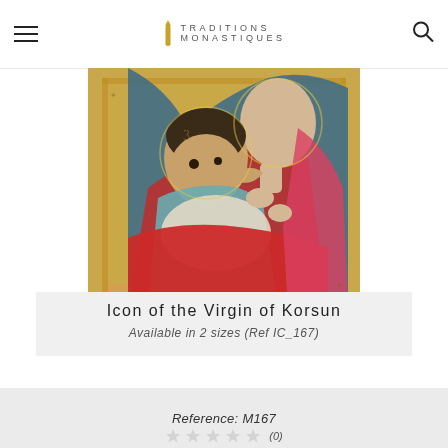Traditions Monastiques
[Figure (photo): Religious icon painting of the Virgin Mary holding the Christ child, both figures depicted in traditional Byzantine iconographic style with red and blue garments on a golden decorative border background.]
Icon of the Virgin of Korsun
Available in 2 sizes (Ref IC_167)
Reference: M167